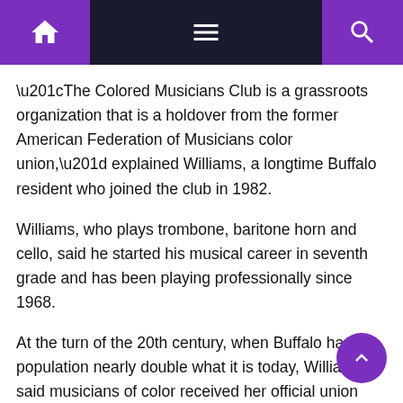Navigation bar with home, menu, and search icons
“The Colored Musicians Club is a grassroots organization that is a holdover from the former American Federation of Musicians color union,” explained Williams, a longtime Buffalo resident who joined the club in 1982.
Williams, who plays trombone, baritone horn and cello, said he started his musical career in seventh grade and has been playing professionally since 1968.
At the turn of the 20th century, when Buffalo had a population nearly double what it is today, Williams said musicians of color received her official union designation — one of approximately 35 musicians’ unions black issued in the largest cities of the country. .
Although they had their own union, it was illegal for an American Federation union to displace another, said Williams